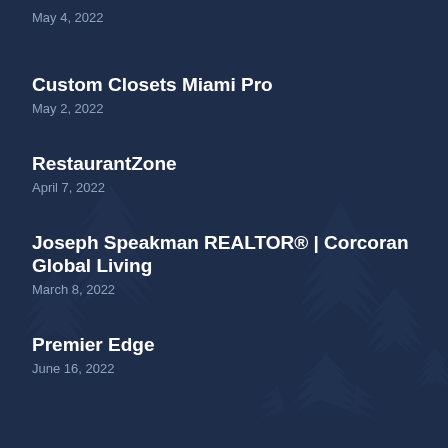May 4, 2022
Custom Closets Miami Pro
May 2, 2022
RestaurantZone
April 7, 2022
Joseph Speakman REALTOR® | Corcoran Global Living
March 8, 2022
Premier Edge
June 16, 2022